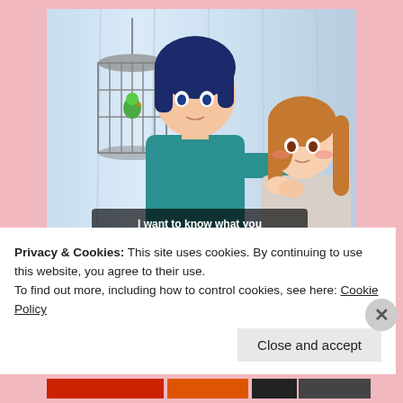[Figure (illustration): Anime screenshot showing two characters facing each other: a tall male character with dark blue hair wearing a teal t-shirt on the left, and a shorter female character with long brown hair on the right. A bird cage with a green bird hangs in the background. Subtitle text reads: 'I want to know what you think about love letters.']
What are my favorite romance tropes?
The more I thought about this question of what are my
Privacy & Cookies: This site uses cookies. By continuing to use this website, you agree to their use.
To find out more, including how to control cookies, see here: Cookie Policy
Close and accept